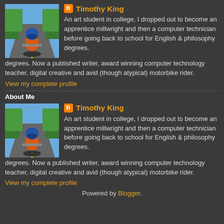[Figure (photo): Profile photo of motorcyclist on road, viewed from behind/above, blue helmet, orange shirt]
Timothy King
An art student in college, I dropped out to become an apprentice millwright and then a computer technician before going back to school for English & philosophy degrees. Now a published writer, award winning computer technology teacher, digital creative and avid (though atypical) motorbike rider.
View my complete profile
About Me
[Figure (photo): Profile photo of motorcyclist on road, viewed from behind/above, blue helmet, orange shirt]
Timothy King
An art student in college, I dropped out to become an apprentice millwright and then a computer technician before going back to school for English & philosophy degrees. Now a published writer, award winning computer technology teacher, digital creative and avid (though atypical) motorbike rider.
View my complete profile
Powered by Blogger.